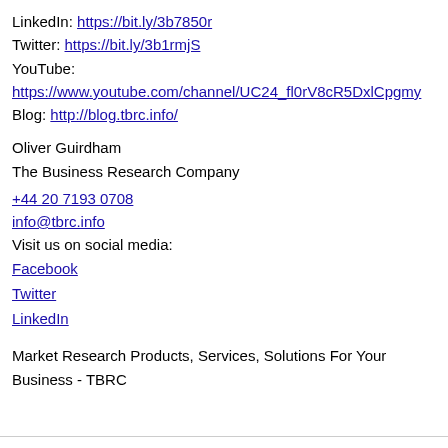LinkedIn: https://bit.ly/3b7850r
Twitter: https://bit.ly/3b1rmjS
YouTube:
https://www.youtube.com/channel/UC24_fl0rV8cR5DxlCpgmy
Blog: http://blog.tbrc.info/
Oliver Guirdham
The Business Research Company
+44 20 7193 0708
info@tbrc.info
Visit us on social media:
Facebook
Twitter
LinkedIn
Market Research Products, Services, Solutions For Your Business - TBRC